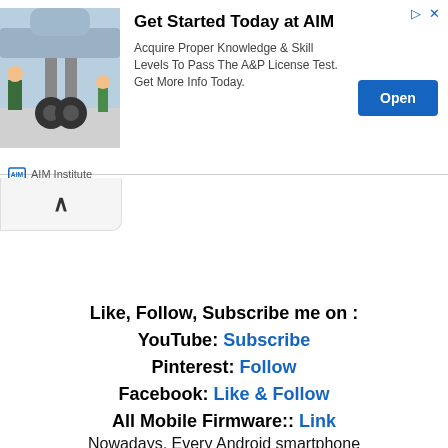[Figure (infographic): Advertisement banner for AIM Institute. Shows an aircraft maintenance image on the left, ad title 'Get Started Today at AIM', description text about A&P License, and an Open button.]
Like, Follow, Subscribe me on :
YouTube: Subscribe
Pinterest: Follow
Facebook: Like & Follow
All Mobile Firmware:: Link
Nowadays, Every Android smartphone
[Figure (other): Collapse/chevron up button UI element]